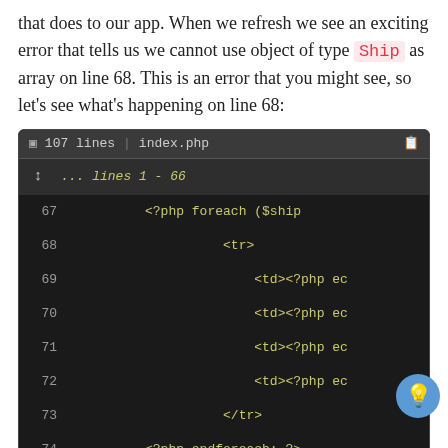that does to our app. When we refresh we see an exciting error that tells us we cannot use object of type Ship as array on line 68. This is an error that you might see, so let's see what's happening on line 68:
[Figure (screenshot): Code editor screenshot showing PHP/HTML code snippet, index.php, 107 lines. Lines 67-74 visible with foreach loop and table row markup.]
Ok, we're using $ship['name']. Before when each ship was an array, that made sense, now we know when you reference an object you